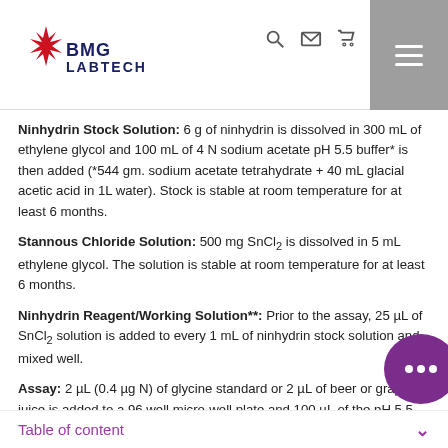BMG LABTECH
Ninhydrin Stock Solution: 6 g of ninhydrin is dissolved in 300 mL of ethylene glycol and 100 mL of 4 N sodium acetate pH 5.5 buffer* is then added (*544 gm. sodium acetate tetrahydrate + 40 mL glacial acetic acid in 1L water). Stock is stable at room temperature for at least 6 months.
Stannous Chloride Solution: 500 mg SnCl2 is dissolved in 5 mL ethylene glycol. The solution is stable at room temperature for at least 6 months.
Ninhydrin Reagent/Working Solution**: Prior to the assay, 25 µL of SnCl2 solution is added to every 1 mL of ninhydrin stock solution and mixed well.
Assay: 2 µL (0.4 µg N) of glycine standard or 2 µL of beer or grape juice is added to a 96 well micro-well plate and 100 µL of the pH 5.5 acetate buffered ninhydrin reagent is then added. The plate is heated for 10 min at 100°C. The absorbance is recorded...
Table of content